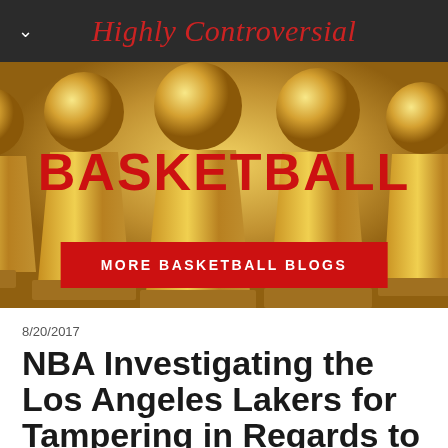Highly Controversial
[Figure (photo): Row of NBA Championship trophies (Larry O'Brien) on white background with BASKETBALL text overlay in red and a red MORE BASKETBALL BLOGS button]
8/20/2017
NBA Investigating the Los Angeles Lakers for Tampering in Regards to Their Communication